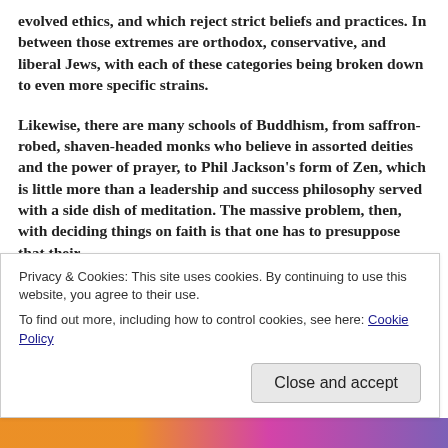evolved ethics, and which reject strict beliefs and practices. In between those extremes are orthodox, conservative, and liberal Jews, with each of these categories being broken down to even more specific strains.
Likewise, there are many schools of Buddhism, from saffron-robed, shaven-headed monks who believe in assorted deities and the power of prayer, to Phil Jackson's form of Zen, which is little more than a leadership and success philosophy served with a side dish of meditation. The massive problem, then, with deciding things on faith is that one has to presuppose that their
Privacy & Cookies: This site uses cookies. By continuing to use this website, you agree to their use.
To find out more, including how to control cookies, see here: Cookie Policy
Close and accept